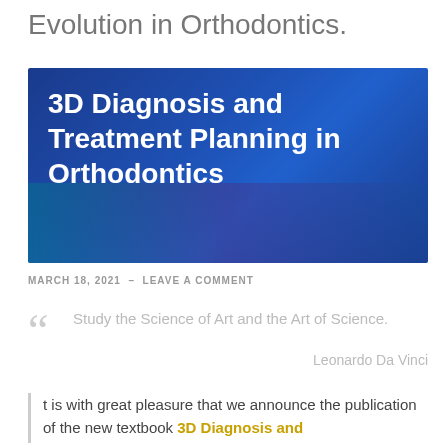Evolution in Orthodontics.
[Figure (illustration): Book cover for '3D Diagnosis and Treatment Planning in Orthodontics' with blue gradient background and large white bold title text]
MARCH 18, 2021 – LEAVE A COMMENT
Study the Science of Art and the Art of Science.
Leonardo Da Vinci
t is with great pleasure that we announce the publication of the new textbook 3D Diagnosis and